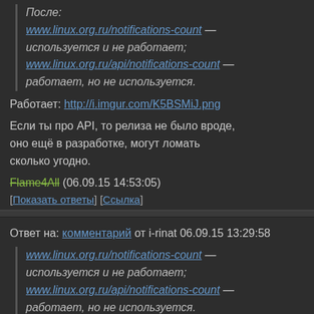После:
www.linux.org.ru/notifications-count — используется и не работает; www.linux.org.ru/api/notifications-count — работает, но не используется.
Работает: http://i.imgur.com/K5BSMiJ.png
Если ты про API, то релиза не было вроде, оно ещё в разработке, могут ломать сколько угодно.
Flame4All (06.09.15 14:53:05)
[Показать ответы] [Ссылка]
Ответ на: комментарий от i-rinat 06.09.15 13:29:58
www.linux.org.ru/notifications-count — используется и не работает; www.linux.org.ru/api/notifications-count — работает, но не используется.